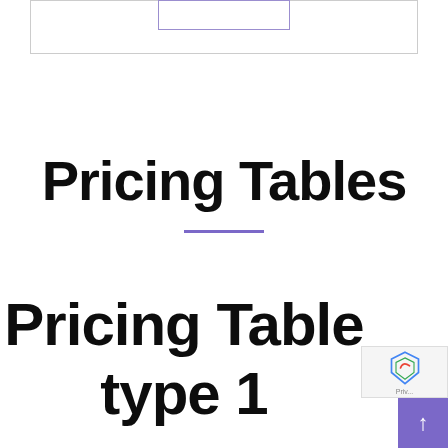[Figure (screenshot): Top navigation bar box with a purple-bordered inner rectangle centered at the top edge]
Pricing Tables
Pricing Table type 1
[Figure (other): reCAPTCHA badge and purple scroll-to-top button in bottom-right corner]